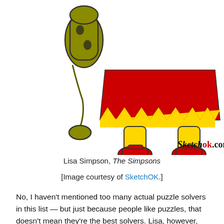[Figure (illustration): Lower body of a cartoon character (Lisa Simpson) wearing a red dress with yellow zigzag hem, yellow legs, red shoes. A green saxophone is visible to the left. Sketchok.com logo in bottom right corner.]
Lisa Simpson, The Simpsons
[Image courtesy of SketchOK.]
No, I haven't mentioned too many actual puzzle solvers in this list — but just because people like puzzles, that doesn't mean they're the best solvers. Lisa, however, fits both sides of the equation.
We've seen her skills as a crossword whiz and her ability to crack a Da Vinci Code-esque mystery, all while navigating the perils of elementary school and a father